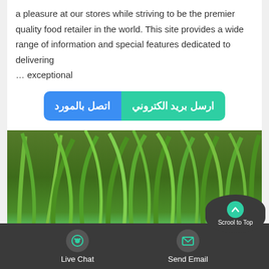a pleasure at our stores while striving to be the premier quality food retailer in the world. This site provides a wide range of information and special features dedicated to delivering … exceptional
اتصل بالمورد   ارسل بريد الكتروني
[Figure (photo): Close-up photo of green grass blades with small green round stones/pebbles at the base]
Scrool to Top
Live Chat   Send Email